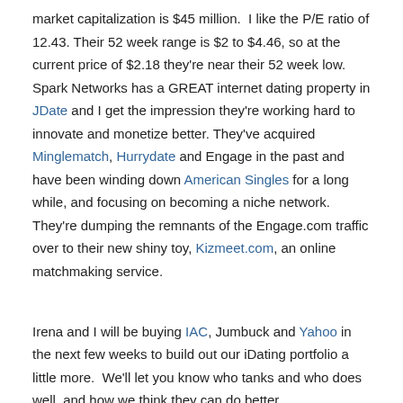market capitalization is $45 million. I like the P/E ratio of 12.43. Their 52 week range is $2 to $4.46, so at the current price of $2.18 they're near their 52 week low. Spark Networks has a GREAT internet dating property in JDate and I get the impression they're working hard to innovate and monetize better. They've acquired Minglematch, Hurrydate and Engage in the past and have been winding down American Singles for a long while, and focusing on becoming a niche network. They're dumping the remnants of the Engage.com traffic over to their new shiny toy, Kizmeet.com, an online matchmaking service.
Irena and I will be buying IAC, Jumbuck and Yahoo in the next few weeks to build out our iDating portfolio a little more. We'll let you know who tanks and who does well, and how we think they can do better.
Aug 27, 2009 | Permalink | Comments (7)
Yahoo! Enters The Middle East Market